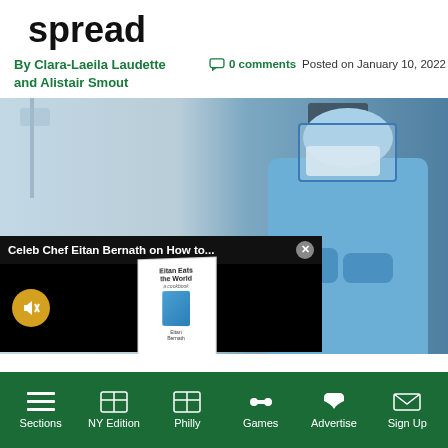spread
By Clara-Laeila Laudette and Alistair Smout
0 comments  Posted on January 10, 2022
[Figure (photo): Healthcare worker in blue PPE gown, face mask, face shield, and hair cover standing in a hospital ICU setting, with an advertisement overlay showing 'Celeb Chef Eitan Bernath on How to...' featuring a book 'Eitan Eats the World']
Sections  NY Edition  Philly  Games  Advertise  Sign Up